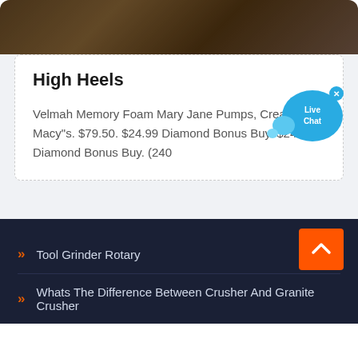[Figure (photo): Top portion showing a dark brownish background image (partial, cropped at top)]
High Heels
Velmah Memory Foam Mary Jane Pumps, Created for Macy"s. $79.50. $24.99 Diamond Bonus Buy. $24.99 Diamond Bonus Buy. (240
[Figure (other): Live Chat bubble widget with close button, blue circular badge with 'Live Chat' text]
Tool Grinder Rotary
Whats The Difference Between Crusher And Granite Crusher